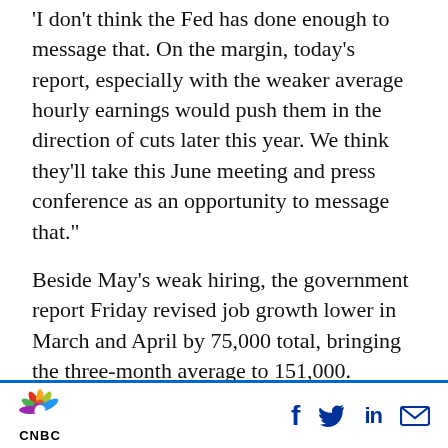'I don't think the Fed has done enough to message that. On the margin, today's report, especially with the weaker average hourly earnings would push them in the direction of cuts later this year. We think they'll take this June meeting and press conference as an opportunity to message that.'
Beside May's weak hiring, the government report Friday revised job growth lower in March and April by 75,000 total, bringing the three-month average to 151,000. Average hourly earnings were up 3.1%, a tenth of a percent less than expected.
[Figure (logo): CNBC logo with peacock symbol and social media icons (Facebook, Twitter, LinkedIn, Email)]